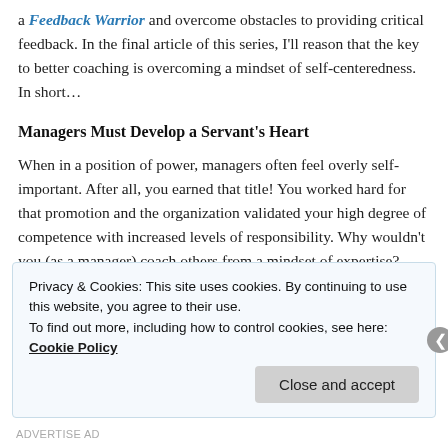a Feedback Warrior and overcome obstacles to providing critical feedback. In the final article of this series, I'll reason that the key to better coaching is overcoming a mindset of self-centeredness. In short…
Managers Must Develop a Servant's Heart
When in a position of power, managers often feel overly self-important. After all, you earned that title! You worked hard for that promotion and the organization validated your high degree of competence with increased levels of responsibility. Why wouldn't you (as a manager) coach others from a mindset of expertise?
Privacy & Cookies: This site uses cookies. By continuing to use this website, you agree to their use.
To find out more, including how to control cookies, see here: Cookie Policy